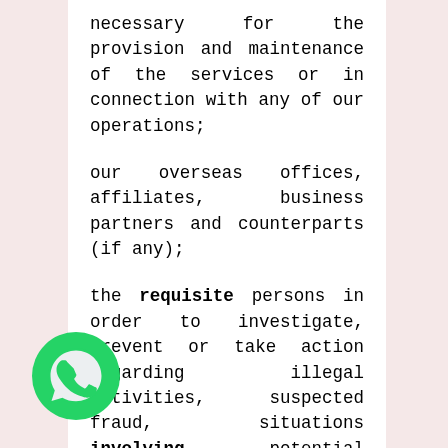necessary for the provision and maintenance of the services or in connection with any of our operations;
our overseas offices, affiliates, business partners and counterparts (if any);
the requisite persons in order to investigate, prevent or take action regarding illegal activities, suspected fraud, situations involving potential threats to the physical safety of any person, violation of the Terms of Use or the Policy;